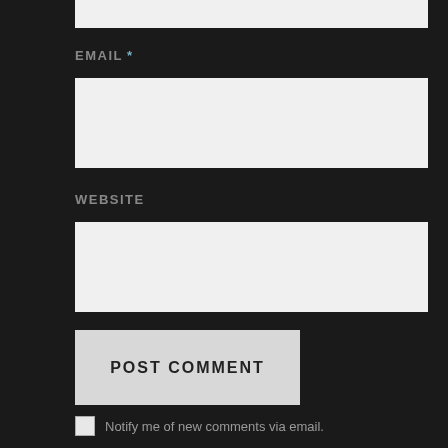[Figure (screenshot): Top portion of a web comment form input box (cropped at top)]
EMAIL *
[Figure (screenshot): Email input text field (empty, light grey background)]
WEBSITE
[Figure (screenshot): Website input text field (empty, light grey background)]
POST COMMENT
Notify me of new comments via email.